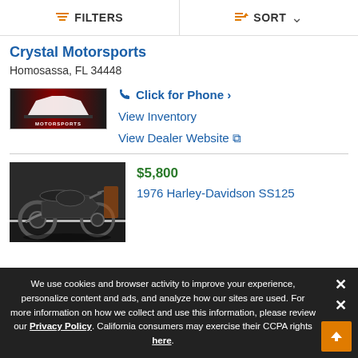FILTERS   SORT
Crystal Motorsports
Homosassa, FL 34448
[Figure (logo): Crystal Motorsports dealer logo — red and black background with white car silhouette]
Click for Phone ›
View Inventory
View Dealer Website ↗
[Figure (photo): Photo of a 1976 Harley-Davidson SS125 motorcycle parked on a black floor indoors]
$5,800
1976 Harley-Davidson SS125
We use cookies and browser activity to improve your experience, personalize content and ads, and analyze how our sites are used. For more information on how we collect and use this information, please review our Privacy Policy. California consumers may exercise their CCPA rights here.